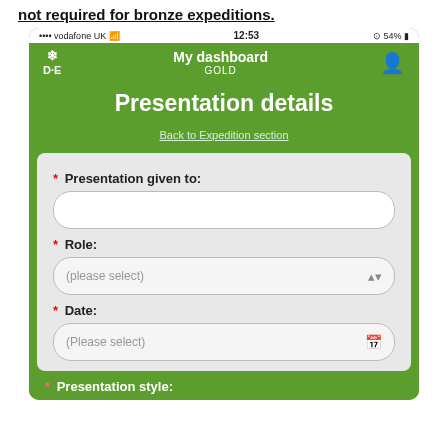not required for bronze expeditions.
[Figure (screenshot): Mobile app screenshot showing 'Presentation details' form in the Duke of Edinburgh (DofE) app. Green header with 'My dashboard / GOLD', form fields for 'Presentation given to:', 'Role:', 'Date:', and 'Presentation style:' (partially visible). Status bar shows vodafone UK, 12:53, 54% battery.]